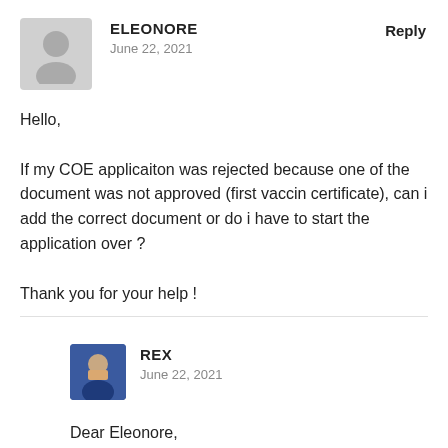[Figure (illustration): Gray avatar placeholder icon for user Eleonore]
ELEONORE
June 22, 2021
Reply
Hello,

If my COE applicaiton was rejected because one of the document was not approved (first vaccin certificate), can i add the correct document or do i have to start the application over ?

Thank you for your help !
[Figure (photo): Photo of user Rex, a man in a suit]
REX
June 22, 2021
Dear Eleonore,
Good day,